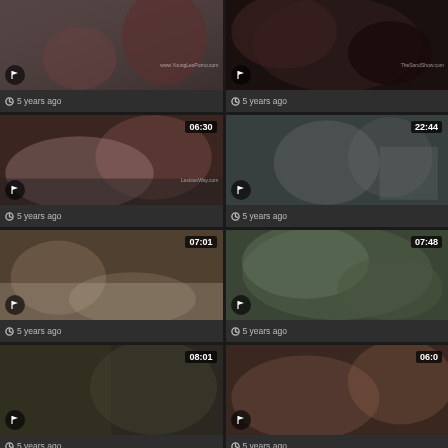[Figure (screenshot): Video thumbnail grid with 8 video cards, each showing a thumbnail image, duration badge, flag button, and '5 years ago' metadata]
5 years ago
5 years ago
5 years ago
5 years ago
5 years ago
5 years ago
5 years ago
5 years ago